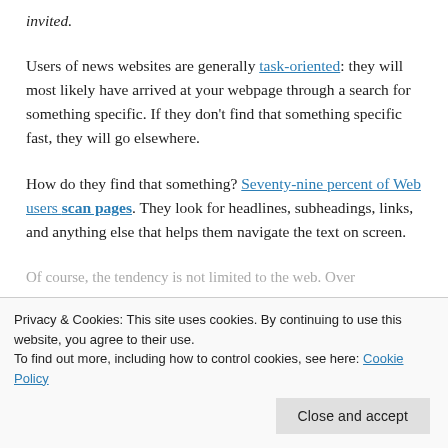invited.
Users of news websites are generally task-oriented: they will most likely have arrived at your webpage through a search for something specific. If they don't find that something specific fast, they will go elsewhere.
How do they find that something? Seventy-nine percent of Web users scan pages. They look for headlines, subheadings, links, and anything else that helps them navigate the text on screen.
Of course, the tendency is not limited to the web. Over
Privacy & Cookies: This site uses cookies. By continuing to use this website, you agree to their use.
To find out more, including how to control cookies, see here: Cookie Policy
Close and accept